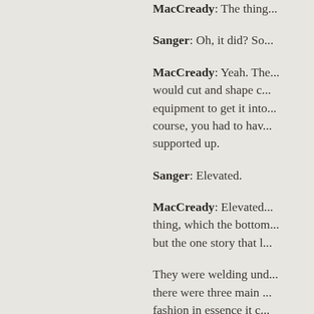MacCready: The thing...
Sanger: Oh, it did? So...
MacCready: Yeah. The... would cut and shape... equipment to get it into... course, you had to hav... supported up.
Sanger: Elevated.
MacCready: Elevated... thing, which the bottom... but the one story that l...
They were welding und... there were three main ... fashion in essence it c... death.
Sanger: Yeah, that's w...